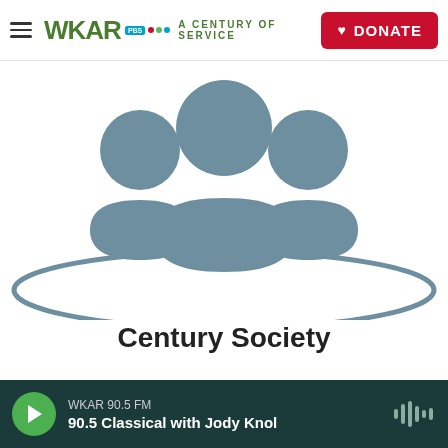WKAR A CENTURY OF SERVICE | DONATE
[Figure (illustration): Group of people icon (silhouettes of figures gathered in a circle) in slate/grey color, representing a society or community, shown from above with an oval shadow beneath]
Century Society
WKAR 90.5 FM | 90.5 Classical with Jody Knol